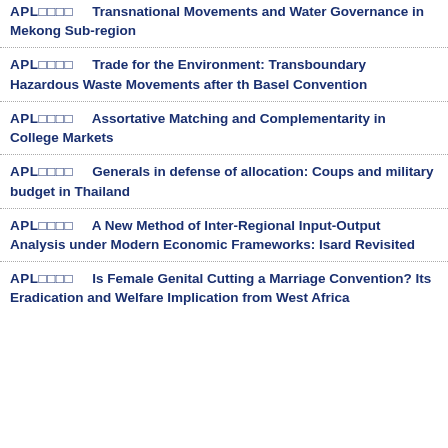APL□□□□    Transnational Movements and Water Governance in Mekong Sub-region
APL□□□□    Trade for the Environment: Transboundary Hazardous Waste Movements after th Basel Convention
APL□□□□    Assortative Matching and Complementarity in College Markets
APL□□□□    Generals in defense of allocation: Coups and military budget in Thailand
APL□□□□    A New Method of Inter-Regional Input-Output Analysis under Modern Economic Frameworks: Isard Revisited
APL□□□□    Is Female Genital Cutting a Marriage Convention? Its Eradication and Welfare Implication from West Africa